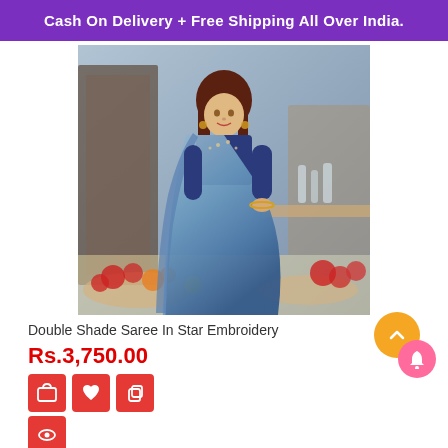Cash On Delivery + Free Shipping All Over India.
[Figure (photo): A woman wearing a double shade blue saree with star embroidery, posing in front of a decorative background with flowers]
Double Shade Saree In Star Embroidery
Rs.3,750.00